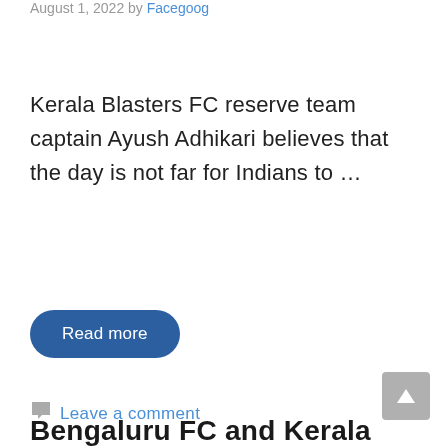August 1, 2022 by Facegoog
Kerala Blasters FC reserve team captain Ayush Adhikari believes that the day is not far for Indians to …
Read more
Leave a comment
Bengaluru FC and Kerala